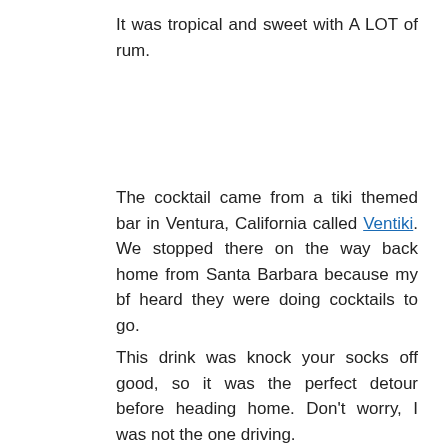It was tropical and sweet with A LOT of rum.
The cocktail came from a tiki themed bar in Ventura, California called Ventiki. We stopped there on the way back home from Santa Barbara because my bf heard they were doing cocktails to go.
This drink was knock your socks off good, so it was the perfect detour before heading home. Don't worry, I was not the one driving.